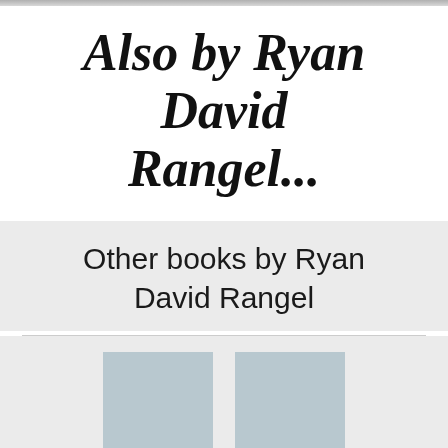Also by Ryan David Rangel...
Other books by Ryan David Rangel
[Figure (illustration): Two light blue-grey book cover placeholder images side by side]